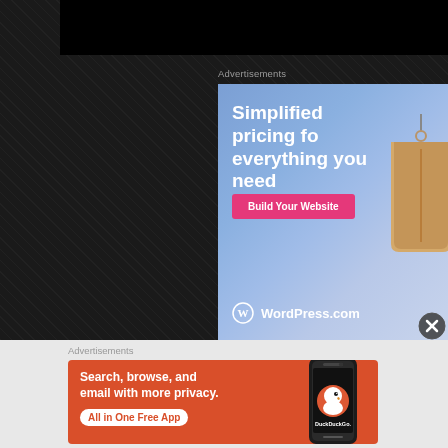[Figure (screenshot): Dark textured background area representing a web browser or app interface]
Advertisements
[Figure (screenshot): WordPress.com advertisement with gradient blue-purple background, text 'Simplified pricing fo everything you need', pink 'Build Your Website' button, price tag illustration, and WordPress.com logo]
[Figure (other): Close/dismiss button (X in circle)]
Advertisements
[Figure (screenshot): DuckDuckGo advertisement on orange-red background with text 'Search, browse, and email with more privacy. All in One Free App' and phone with DuckDuckGo logo]